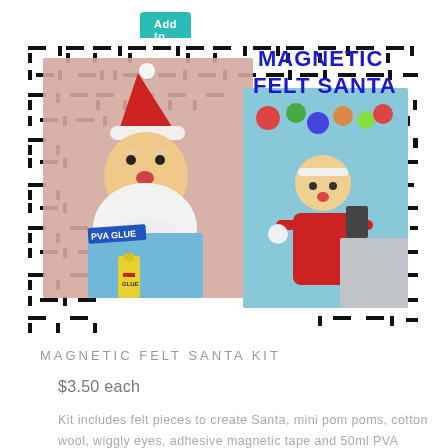[Figure (photo): Product listing for Magnetic Felt Santa Kit. Shows a collage photo with a handmade felt Santa face with red hat and white beard, a smaller elf/santa figure with red body and magnetic tape, a bottle of PVA glue labeled 'PVA GLUE', overlay text reading 'MAGNETIC FELT SANTA' in bold blue letters, all set against a black and white dash/bar pattern background.]
MAGNETIC FELT SANTA KIT
$3.50 each
Kit includes felt pieces to create Santa, mini pom poms, cotton wool, wiggly eyes, adhesive magnetic tape and 50ml PVA glue. Additional coloured